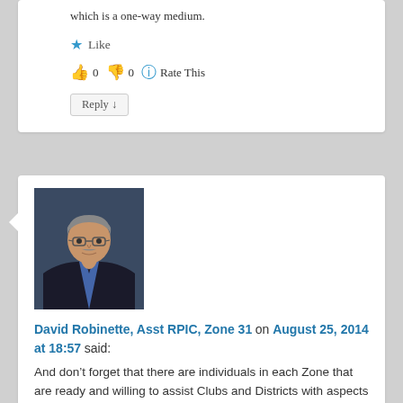which is a one-way medium.
★ Like
👍 0  👎 0  ℹ Rate This
Reply ↓
[Figure (photo): Portrait photo of David Robinette, a middle-aged man with glasses, wearing a dark suit and tie, against a blue background]
David Robinette, Asst RPIC, Zone 31 on August 25, 2014 at 18:57 said:
And don't forget that there are individuals in each Zone that are ready and willing to assist Clubs and Districts with aspects of Social Media and Rotary; they are known as Rotary Public Image Coordinators (RPIC) and Assistant RPICs,